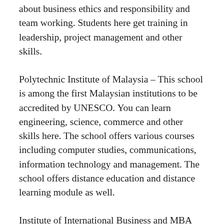about business ethics and responsibility and team working. Students here get training in leadership, project management and other skills.
Polytechnic Institute of Malaysia – This school is among the first Malaysian institutions to be accredited by UNESCO. You can learn engineering, science, commerce and other skills here. The school offers various courses including computer studies, communications, information technology and management. The school offers distance education and distance learning module as well.
Institute of International Business and MBA School – This is one of the leading business schools in Malaysia that offers both online and campus based degree programs. The school offers an array of global business opportunities and thus has become a very popular choice among the students here. The